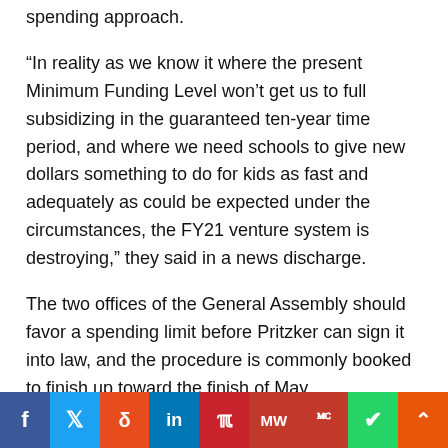spending approach.
“In reality as we know it where the present Minimum Funding Level won’t get us to full subsidizing in the guaranteed ten-year time period, and where we need schools to give new dollars something to do for kids as fast and adequately as could be expected under the circumstances, the FY21 venture system is destroying,” they said in a news discharge.
The two offices of the General Assembly should favor a spending limit before Pritzker can sign it into law, and the procedure is commonly booked to finish up toward the finish of May.